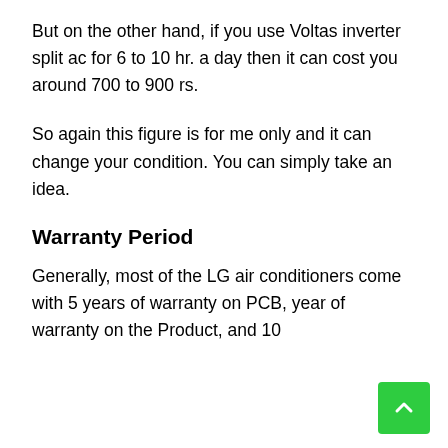But on the other hand, if you use Voltas inverter split ac for 6 to 10 hr. a day then it can cost you around 700 to 900 rs.
So again this figure is for me only and it can change your condition. You can simply take an idea.
Warranty Period
Generally, most of the LG air conditioners come with 5 years of warranty on PCB, year of warranty on the Product, and 10